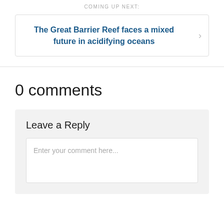COMING UP NEXT:
The Great Barrier Reef faces a mixed future in acidifying oceans
0 comments
Leave a Reply
Enter your comment here...